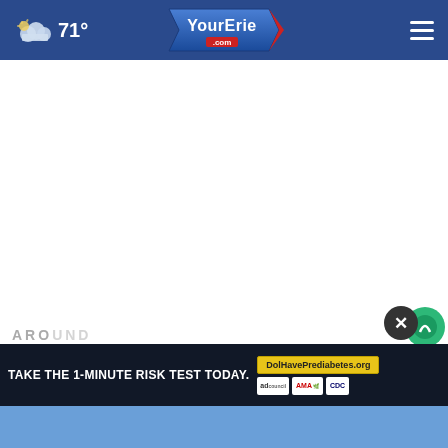71° YourErie.com
AROUND
[Figure (screenshot): Advertisement banner: TAKE THE 1-MINUTE RISK TEST TODAY. DolHavePrediabetes.org with ad council, AMA, and CDC logos. Close (X) button above right side.]